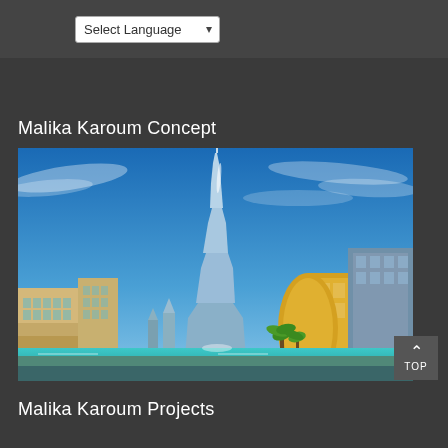Select Language
Malika Karoum Concept
[Figure (photo): Photograph of the Burj Khalifa skyscraper in Dubai against a blue sky, with surrounding buildings, palm trees, and a reflecting pool in the foreground]
Malika Karoum Projects